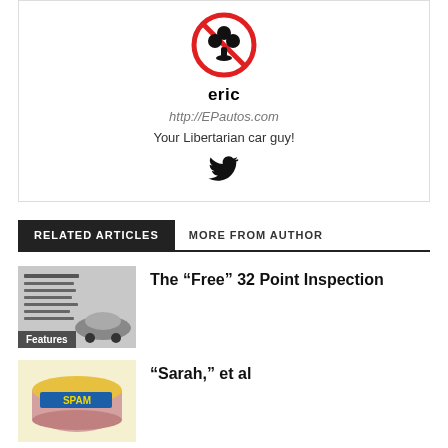[Figure (logo): Author avatar: a black club/clover symbol inside a red circle-slash prohibition sign]
eric
http://EPautos.com
Your Libertarian car guy!
[Figure (logo): Twitter bird icon (black)]
RELATED ARTICLES	MORE FROM AUTHOR
[Figure (photo): Thumbnail image for '32 Point Inspection' article showing a checklist and a car, with Features label overlay]
The “Free” 32 Point Inspection
[Figure (illustration): Thumbnail image showing a SPAM can illustration]
“Sarah,” et al